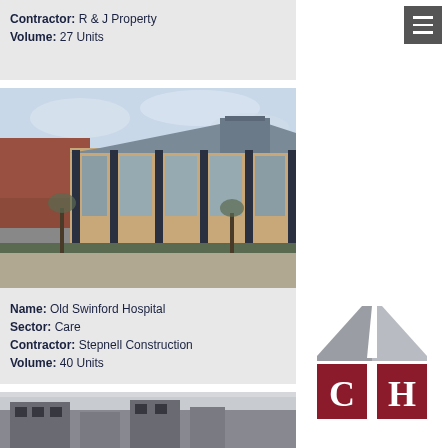Contractor: R & J Property
Volume: 27 Units
[Figure (photo): Exterior photo of Old Swinford Hospital building with brick facade, large glazed windows, distinctive roofline, and courtyard with trees]
Name: Old Swinford Hospital
Sector: Care
Contractor: Stepnell Construction
Volume: 40 Units
[Figure (photo): Partial exterior photo of a building in winter/snow conditions]
[Figure (logo): CH logo — stylized house/roofline shape in grey with dark red square base panels containing letters C and H in white]